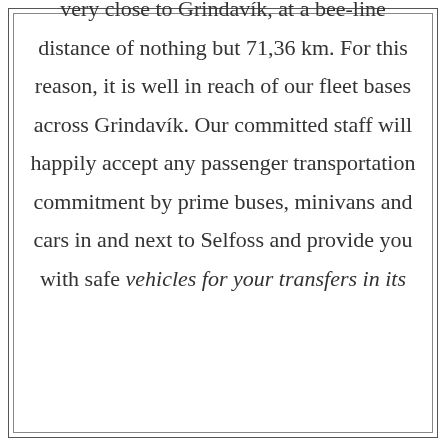very close to Grindavík, at a bee-line distance of nothing but 71,36 km. For this reason, it is well in reach of our fleet bases across Grindavík. Our committed staff will happily accept any passenger transportation commitment by prime buses, minivans and cars in and next to Selfoss and provide you with safe vehicles for your transfers in its